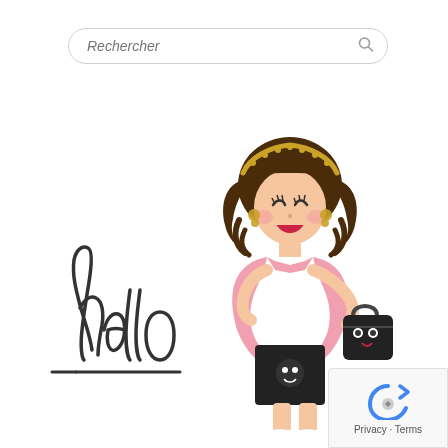[Figure (screenshot): Search bar with placeholder text 'Rechercher' and a magnifying glass icon on the right, rounded rectangle border]
[Figure (illustration): Cartoon illustration of a young girl with short curly brown hair, wearing a pink blazer over a white top and black skirt, holding a black cat-face handbag, wearing white sneakers. The word 'Hello' is written in stylized handwritten script to her left with an underline.]
[Figure (other): Google reCAPTCHA widget showing blue circular arrow icon, with 'Privacy - Terms' text below]